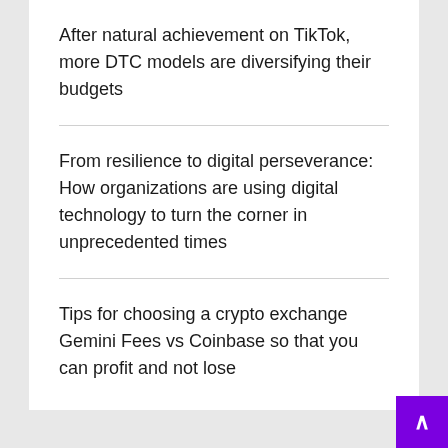After natural achievement on TikTok, more DTC models are diversifying their budgets
From resilience to digital perseverance: How organizations are using digital technology to turn the corner in unprecedented times
Tips for choosing a crypto exchange Gemini Fees vs Coinbase so that you can profit and not lose
Archives
Select Month